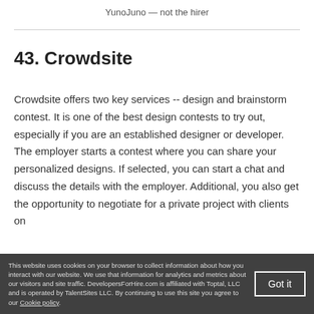YunoJuno — not the hirer
43. Crowdsite
Crowdsite offers two key services -- design and brainstorm contest. It is one of the best design contests to try out, especially if you are an established designer or developer. The employer starts a contest where you can share your personalized designs. If selected, you can start a chat and discuss the details with the employer. Additional, you also get the opportunity to negotiate for a private project with clients on
This website uses cookies on your browser to collect information about how you interact with our website. We use that information for analytics and metrics about our visitors and site traffic. DevelopersForHire.com is affiliated with Toptal, LLC and is operated by TalentSites LLC. By continuing to use this site you agree to our Cookie policy.